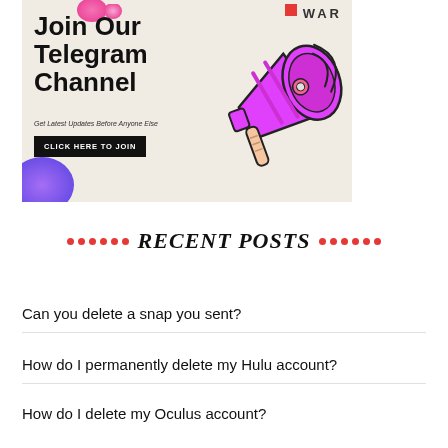[Figure (illustration): Promotional banner with beige background, large bold text 'Join Our Telegram Channel', subtitle 'Get Latest Updates Before Anyone Else', a black 'CLICK HERE TO JOIN' button, a pink megaphone illustration, decorative purple and pink blobs, a small red square, and 'WAR' text in the top right.]
RECENT POSTS
Can you delete a snap you sent?
How do I permanently delete my Hulu account?
How do I delete my Oculus account?